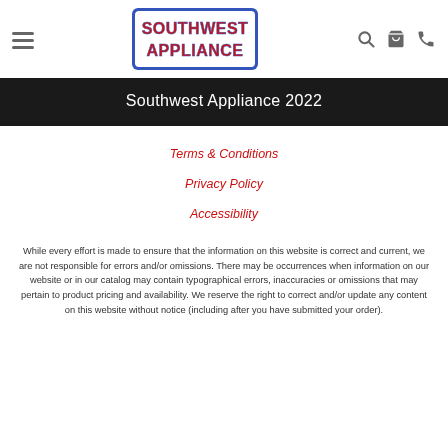Southwest Appliance — navigation header with logo, hamburger menu, search, cart, phone icons
Southwest Appliance 2022
Terms & Conditions
Privacy Policy
Accessibility
While every effort is made to ensure that the information on this website is correct and current, we are not responsible for errors and/or omissions. There may be occurrences when information on our website or in our catalog may contain typographical errors, inaccuracies or omissions that may pertain to product pricing and availability. We reserve the right to correct and/or update any content on this website without notice (including after you have submitted your order).